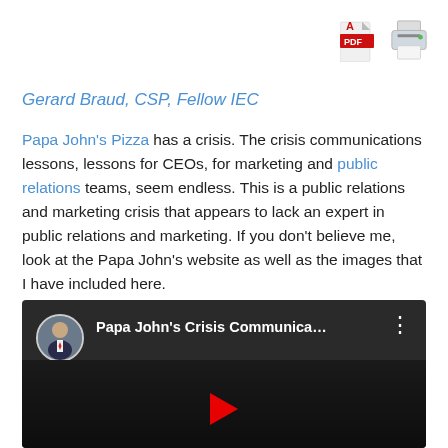[Figure (other): PDF and printer icons in top right corner]
Gerard Braud, CSP, Fellow IEC
Papa John's Pizza has a crisis. The crisis communications lessons, lessons for CEOs, for marketing and public relations teams, seem endless. This is a public relations and marketing crisis that appears to lack an expert in public relations and marketing. If you don't believe me, look at the Papa John's website as well as the images that I have included here.
[Figure (screenshot): YouTube video thumbnail for 'Papa John's Crisis Communica...' with a man in a suit as the channel avatar and a play button at the bottom]